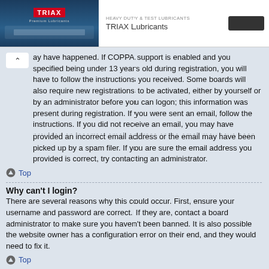[Figure (screenshot): TRIAX Lubricants advertisement banner with logo and company name]
ay have happened. If COPPA support is enabled and you specified being under 13 years old during registration, you will have to follow the instructions you received. Some boards will also require new registrations to be activated, either by yourself or by an administrator before you can logon; this information was present during registration. If you were sent an email, follow the instructions. If you did not receive an email, you may have provided an incorrect email address or the email may have been picked up by a spam filer. If you are sure the email address you provided is correct, try contacting an administrator.
Top
Why can't I login?
There are several reasons why this could occur. First, ensure your username and password are correct. If they are, contact a board administrator to make sure you haven't been banned. It is also possible the website owner has a configuration error on their end, and they would need to fix it.
Top
I registered in the past but cannot login any more?!
It is possible an administrator has deactivated or deleted your account for some reason. Also, many boards periodically remove users who have not posted for a long time to reduce the size of the database. If this has happened, try registering